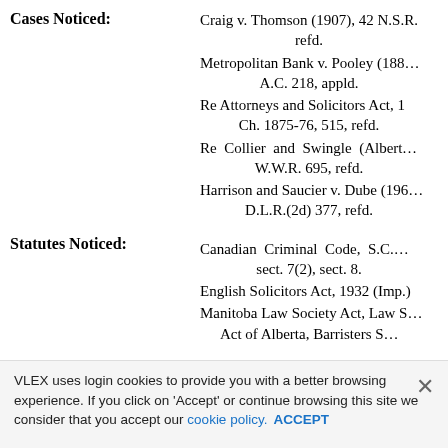Cases Noticed:
Craig v. Thomson (1907), 42 N.S.R. … refd.
Metropolitan Bank v. Pooley (1885), … A.C. 218, appld.
Re Attorneys and Solicitors Act, 1 Ch. 1875-76, 515, refd.
Re Collier and Swingle (Alberta) … W.W.R. 695, refd.
Harrison and Saucier v. Dube (196…) D.L.R.(2d) 377, refd.
Statutes Noticed:
Canadian Criminal Code, S.C. … sect. 7(2), sect. 8.
English Solicitors Act, 1932 (Imp.)
Manitoba Law Society Act, Law Society Act of Alberta, Barristers Society Act, S.N.B., 1931.
New Brunswick Rules of Court
VLEX uses login cookies to provide you with a better browsing experience. If you click on 'Accept' or continue browsing this site we consider that you accept our cookie policy. ACCEPT